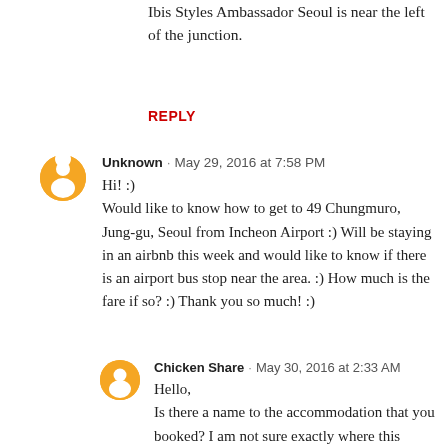Ibis Styles Ambassador Seoul is near the left of the junction.
REPLY
Unknown · May 29, 2016 at 7:58 PM
Hi! :)
Would like to know how to get to 49 Chungmuro, Jung-gu, Seoul from Incheon Airport :) Will be staying in an airbnb this week and would like to know if there is an airport bus stop near the area. :) How much is the fare if so? :) Thank you so much! :)
Chicken Share · May 30, 2016 at 2:33 AM
Hello,
Is there a name to the accommodation that you booked? I am not sure exactly where this